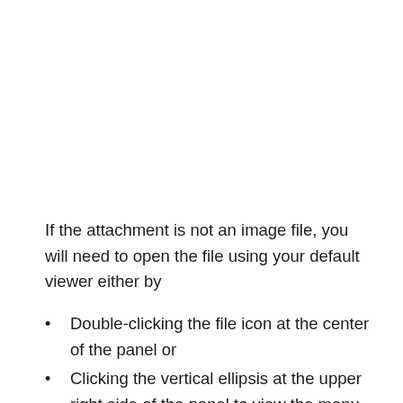If the attachment is not an image file, you will need to open the file using your default viewer either by
Double-clicking the file icon at the center of the panel or
Clicking the vertical ellipsis at the upper right side of the panel to view the menu,